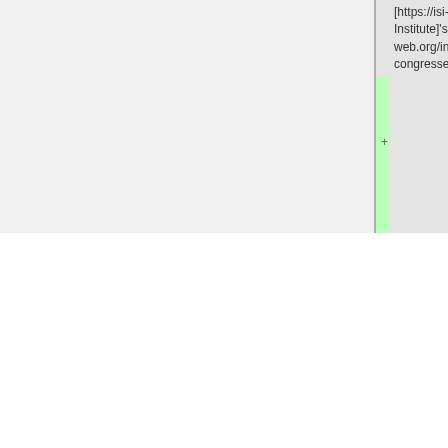| (empty) | marker | old version | new version |
| --- | --- | --- | --- |
|  |  | [https://isi-web.org International Statistics Institute]'s [https://isi-web.org/index.php/activities/world-statistics-congresses 2019 World Stats Congress]. | [https://isi-web.org International Statistics Institute]'s [https://isi-web.org/index.php/activities/world-statistics-congresses 2019 World Stats Congress]. |
|  | + |  | * July 23, 2019: Ivo Dinov is presenting [http://socr.umich.edu/docs/uploads/2019/Dinov_ML_BreastCancer_2019.pdf Breast Cancer Risk Prediction using Model-based and Model-Free Techniques] at the [https://www.rogelcancercenter.org University of Michigan Rogel Cancer Center], Cancer Center #6317. |
|  |  |  | * May 9, 2019, Ivo Dinov is presenting... |